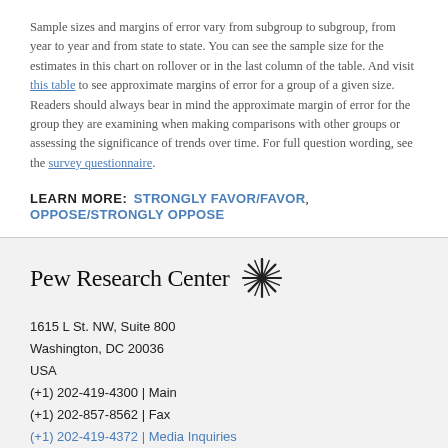Sample sizes and margins of error vary from subgroup to subgroup, from year to year and from state to state. You can see the sample size for the estimates in this chart on rollover or in the last column of the table. And visit this table to see approximate margins of error for a group of a given size. Readers should always bear in mind the approximate margin of error for the group they are examining when making comparisons with other groups or assessing the significance of trends over time. For full question wording, see the survey questionnaire.
LEARN MORE: STRONGLY FAVOR/FAVOR, OPPOSE/STRONGLY OPPOSE
[Figure (logo): Pew Research Center logo with sunburst icon]
1615 L St. NW, Suite 800
Washington, DC 20036
USA
(+1) 202-419-4300 | Main
(+1) 202-857-8562 | Fax
(+1) 202-419-4372 | Media Inquiries
RESEARCH TOPICS